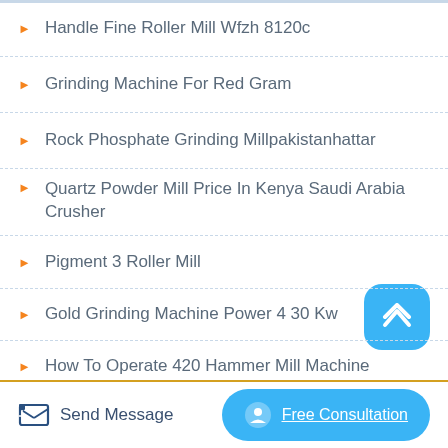Handle Fine Roller Mill Wfzh 8120c
Grinding Machine For Red Gram
Rock Phosphate Grinding Millpakistanhattar
Quartz Powder Mill Price In Kenya Saudi Arabia Crusher
Pigment 3 Roller Mill
Gold Grinding Machine Power 4 30 Kw
How To Operate 420 Hammer Mill Machine
Send Message
Free Consultation